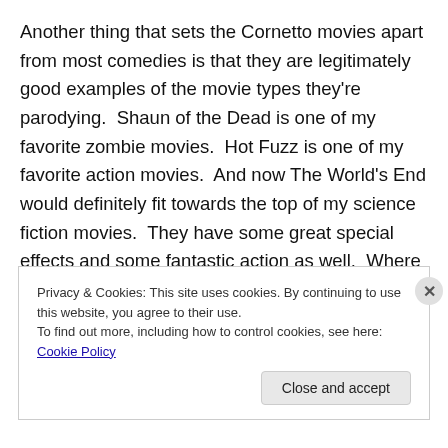Another thing that sets the Cornetto movies apart from most comedies is that they are legitimately good examples of the movie types they're parodying. Shaun of the Dead is one of my favorite zombie movies. Hot Fuzz is one of my favorite action movies. And now The World's End would definitely fit towards the top of my science fiction movies. They have some great special effects and some fantastic action as well. Where else might you see Simon Pegg Rock Bottom someone and Nick Frost deliver a People's Elbow? Then there's a big fight where Nick Frost...
Privacy & Cookies: This site uses cookies. By continuing to use this website, you agree to their use.
To find out more, including how to control cookies, see here: Cookie Policy
Close and accept